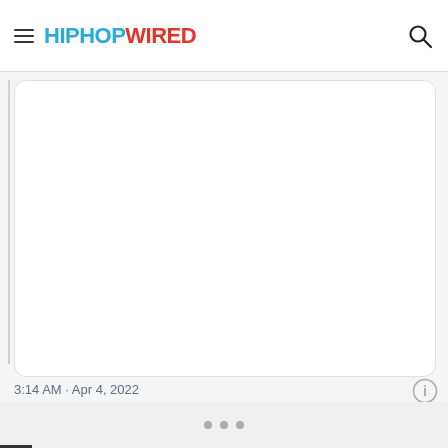HIPHOPWIRED
[Figure (screenshot): Embedded tweet card with white background and rounded corners, content area blank/white]
3:14 AM · Apr 4, 2022
[Figure (other): Three pagination dots (dark gray circles) in a row on a light gray background bar at the bottom]